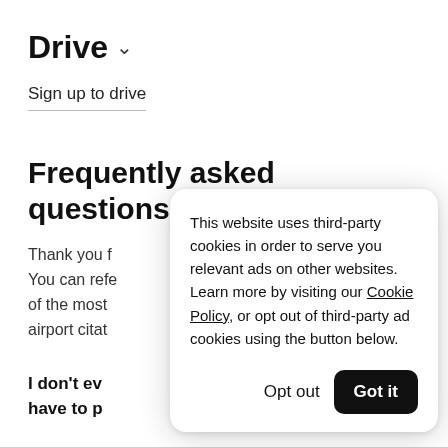Drive ˅
Sign up to drive
Frequently asked questions
Thank you f… You can refe… of the most… airport citat…
I don't ev… have to p…
This website uses third-party cookies in order to serve you relevant ads on other websites. Learn more by visiting our Cookie Policy, or opt out of third-party ad cookies using the button below.
Opt out
Got it